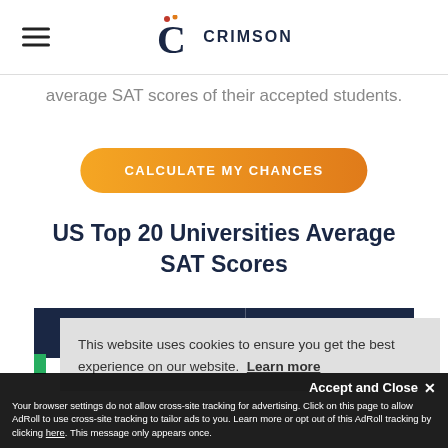Crimson Education
average SAT scores of their accepted students.
CALCULATE MY CHANCES
US Top 20 Universities Average SAT Scores
|  | Average |
| --- | --- |
This website uses cookies to ensure you get the best experience on our website. Learn more
Accept and Close ✕
Your browser settings do not allow cross-site tracking for advertising. Click on this page to allow AdRoll to use cross-site tracking to tailor ads to you. Learn more or opt out of this AdRoll tracking by clicking here. This message only appears once.